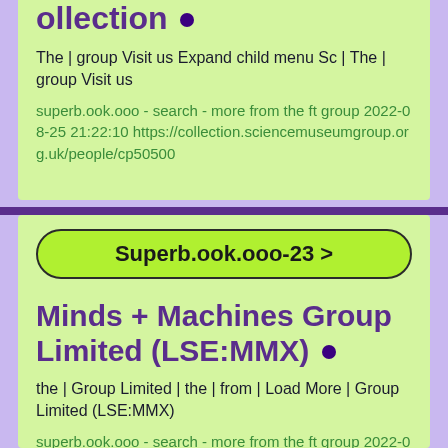ollection •
The | group Visit us Expand child menu Sc | The | group Visit us
superb.ook.ooo - search - more from the ft group 2022-08-25 21:22:10 https://collection.sciencemuseumgroup.org.uk/people/cp50500
Superb.ook.ooo-23 >
Minds + Machines Group Limited (LSE:MMX) •
the | Group Limited | the | from | Load More | Group Limited (LSE:MMX)
superb.ook.ooo - search - more from the ft group 2022-08-25 21:22:10 https://mmx.co/policies